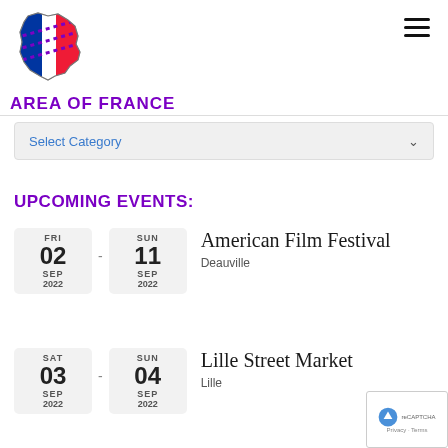[Figure (logo): France map outline with blue, white, red tricolor fill and purple dotted diagonal stripe — Area of France website logo]
AREA OF FRANCE
Select Category
UPCOMING EVENTS:
American Film Festival — FRI 02 SEP 2022 - SUN 11 SEP 2022 — Deauville
Lille Street Market — SAT 03 SEP 2022 - SUN 04 SEP 2022 — Lille